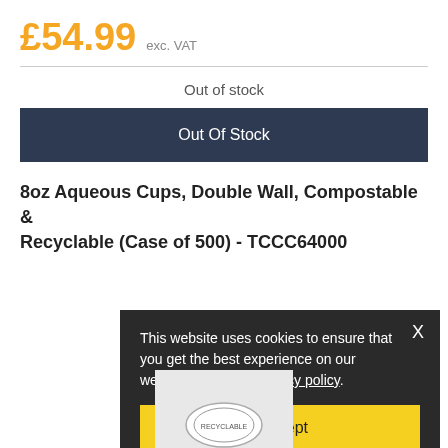£54.99  exc. VAT
Out of stock
Out Of Stock
8oz Aqueous Cups, Double Wall, Compostable & Recyclable (Case of 500) - TCCC64000
This website uses cookies to ensure that you get the best experience on our website. Read our privacy policy.
I accept
[Figure (photo): Partial view of a compostable recyclable cup with circular logo visible at the bottom of the page]